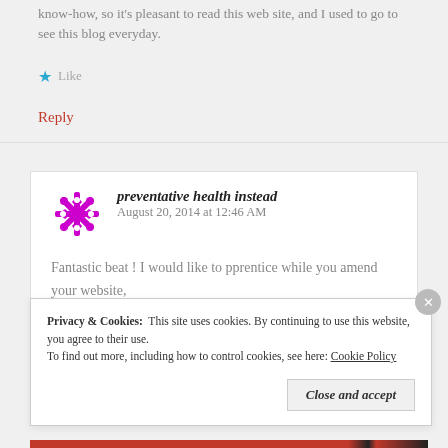know-how, so it's pleasant to read this web site, and I used to go to see this blog everyday.
★ Like
Reply
preventative health instead  August 20, 2014 at 12:46 AM
Fantastic beat ! I would like to pprentice while you amend your website,
Privacy & Cookies:  This site uses cookies. By continuing to use this website, you agree to their use.
To find out more, including how to control cookies, see here: Cookie Policy
Close and accept